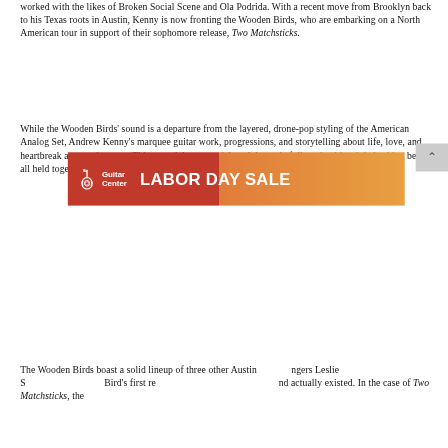worked with the likes of Broken Social Scene and Ola Podrida. With a recent move from Brooklyn back to his Texas roots in Austin, Kenny is now fronting the Wooden Birds, who are embarking on a North American tour in support of their sophomore release, Two Matchsticks.
While the Wooden Birds' sound is a departure from the layered, drone-pop styling of the American Analog Set, Andrew Kenny's marquee guitar work, progressions, and storytelling about life, love, and heartbreak are omnipresent. This record draws on rich and dynamic folk rock with subtle backing beats, all held together with hypnotic crooning by Kenny and other members of the band.
[Figure (other): Guitar Center Labor Day Sale advertisement banner. Red and orange gradient background. Guitar Center logo on the left with guitar icon. Large white bold text reading LABOR DAY SALE on the right.]
The Wooden Birds boast a solid lineup of three other Austin... fingers Leslie S... Bird's first re... and actually existed. In the case of Two Matchsticks, the